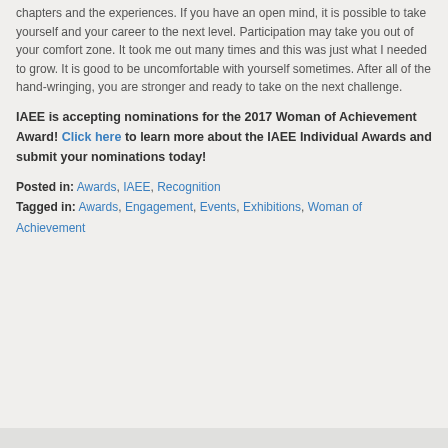chapters and the experiences. If you have an open mind, it is possible to take yourself and your career to the next level. Participation may take you out of your comfort zone. It took me out many times and this was just what I needed to grow. It is good to be uncomfortable with yourself sometimes. After all of the hand-wringing, you are stronger and ready to take on the next challenge.
IAEE is accepting nominations for the 2017 Woman of Achievement Award! Click here to learn more about the IAEE Individual Awards and submit your nominations today!
Posted in: Awards, IAEE, Recognition
Tagged in: Awards, Engagement, Events, Exhibitions, Woman of Achievement